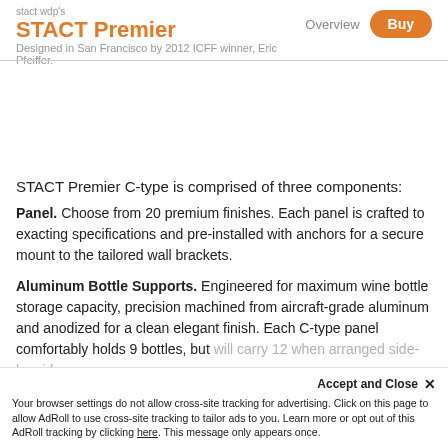STACT Premier — Overview | Buy — Designed in San Francisco by 2012 ICFF winner, Eric Pfeiffer.
STACT Premier C-type is comprised of three components:
Panel. Choose from 20 premium finishes. Each panel is crafted to exacting specifications and pre-installed with anchors for a secure mount to the tailored wall brackets.
Aluminum Bottle Supports. Engineered for maximum wine bottle storage capacity, precision machined from aircraft-grade aluminum and anodized for a clean elegant finish. Each C-type panel comfortably holds 9 bottles, but will carry 12 when arranged side-by-side.
Accept and Close ✕ Your browser settings do not allow cross-site tracking for advertising. Click on this page to allow AdRoll to use cross-site tracking to tailor ads to you. Learn more or opt out of this AdRoll tracking by clicking here. This message only appears once.